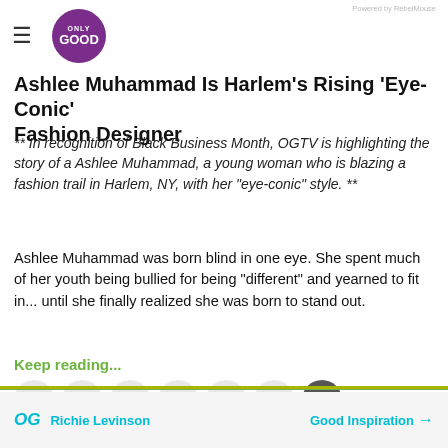Only Good TV — Powered by RebelMouse
Ashlee Muhammad Is Harlem's Rising 'Eye-Conic' Fashion Designer
** In recognition of Black Business Month, OGTV is highlighting the story of a Ashlee Muhammad, a young woman who is blazing a fashion trail in Harlem, NY, with her "eye-conic" style. **
Ashlee Muhammad was born blind in one eye. She spent much of her youth being bullied for being "different" and yearned to fit in... until she finally realized she was born to stand out.
Keep reading...
Richie Levinson | Good Inspiration